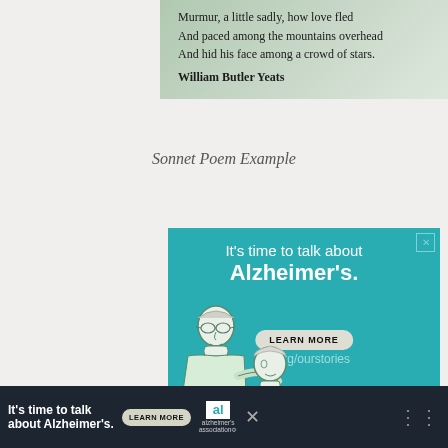Murmur, a little sadly, how love fled
And paced among the mountains overhead
And hid his face among a crowd of stars.

William Butler Yeats
Sonnet Poem Example
[Figure (illustration): Alzheimer's Association advertisement with teal background. Text: It's time to talk about Alzheimer's. LEARN MORE button. alz.org/ourstories. Illustration of elderly man and woman. Alzheimer's association logo.]
[Figure (illustration): Bottom bar repeat of Alzheimer's ad: It's time to talk about Alzheimer's. LEARN MORE. Alzheimer's association logo. Close X button.]